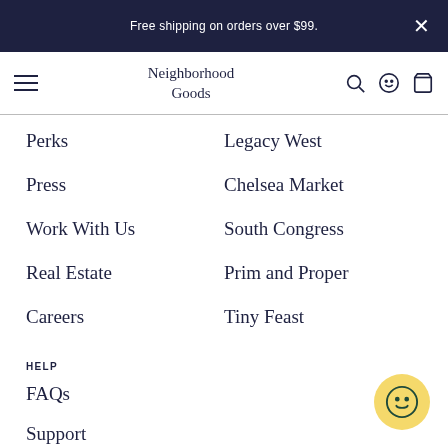Free shipping on orders over $99.
Neighborhood Goods
Perks
Legacy West
Press
Chelsea Market
Work With Us
South Congress
Real Estate
Prim and Proper
Careers
Tiny Feast
HELP
FAQs
Support